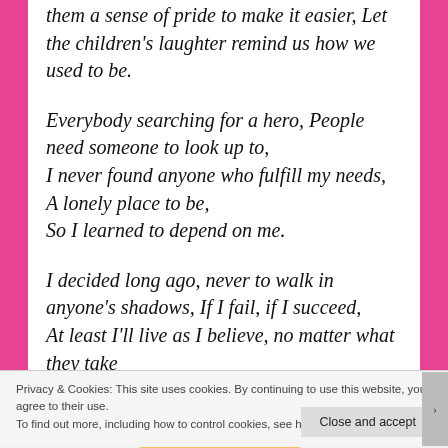them a sense of pride to make it easier, Let the children's laughter remind us how we used to be.
Everybody searching for a hero, People need someone to look up to,
I never found anyone who fulfill my needs, A lonely place to be,
So I learned to depend on me.
I decided long ago, never to walk in anyone's shadows, If I fail, if I succeed,
At least I'll live as I believe, no matter what they take
Privacy & Cookies: This site uses cookies. By continuing to use this website, you agree to their use.
To find out more, including how to control cookies, see here: Cookie Policy
Close and accept